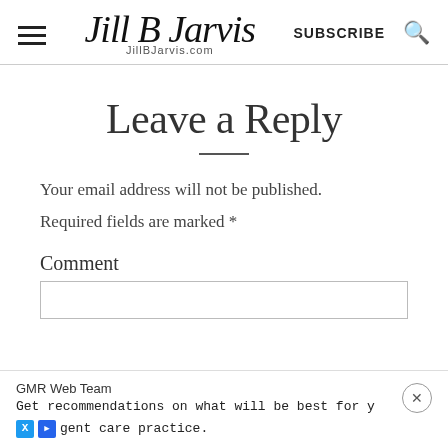Jill B Jarvis — JillBJarvis.com — SUBSCRIBE
Leave a Reply
Your email address will not be published.
Required fields are marked *
Comment
GMR Web Team
Get recommendations on what will be best for y
gent care practice.